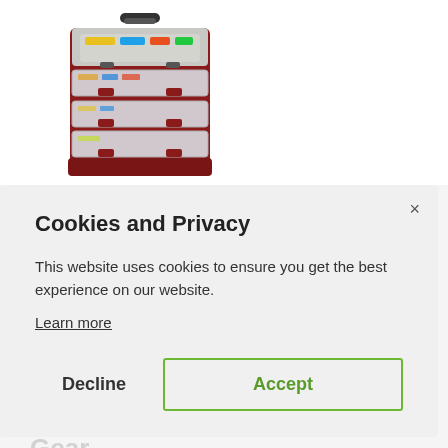[Figure (photo): A red and clear plastic multi-drawer fishing tackle box with a black handle on top, drawers open showing fishing lures and tackle inside.]
[Figure (photo): A partially visible turkey/bird silhouette watermark in gray on a light gray background, with 'Shop now' and arrow text partially visible.]
Cookies and Privacy
This website uses cookies to ensure you get the best experience on our website.
Learn more
Decline
Accept
Gear
Complete Guide To Using Tent